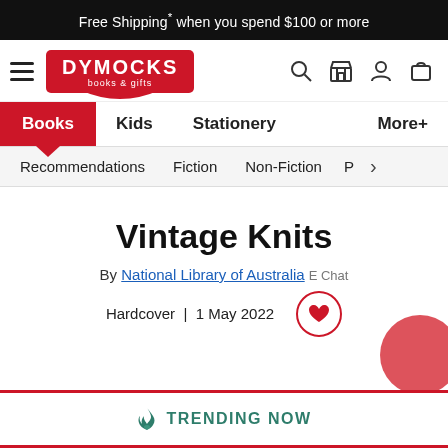Free Shipping* when you spend $100 or more
[Figure (logo): Dymocks books & gifts logo in red with hamburger menu and navigation icons (search, store, account, cart)]
Books | Kids | Stationery | More+
Recommendations | Fiction | Non-Fiction | P >
Vintage Knits
By National Library of Australia
Hardcover | 1 May 2022
TRENDING NOW